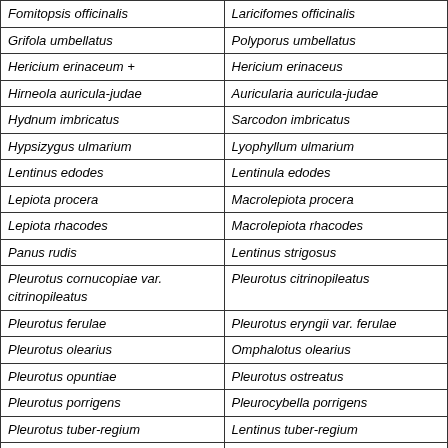| Former name | Current name |
| --- | --- |
| Fomitopsis officinalis | Laricifomes officinalis |
| Grifola umbellatus | Polyporus umbellatus |
| Hericium erinaceum + | Hericium erinaceus |
| Hirneola auricula-judae | Auricularia auricula-judae |
| Hydnum imbricatus | Sarcodon imbricatus |
| Hypsizygus ulmarium | Lyophyllum ulmarium |
| Lentinus edodes | Lentinula edodes |
| Lepiota procera | Macrolepiota procera |
| Lepiota rhacodes | Macrolepiota rhacodes |
| Panus rudis | Lentinus strigosus |
| Pleurotus cornucopiae var. citrinopileatus | Pleurotus citrinopileatus |
| Pleurotus ferulae | Pleurotus eryngii var. ferulae |
| Pleurotus olearius | Omphalotus olearius |
| Pleurotus opuntiae | Pleurotus ostreatus |
| Pleurotus porrigens | Pleurocybella porrigens |
| Pleurotus tuber-regium | Lentinus tuber-regium |
| Poria cocos; Wolfiporia cocos | Wolfiporia extensa |
| Rozites caperata + | Rozites caperatus |
| Sparassis radicata | Sparassis crispa |
| Stropharia… | Melanotus… |